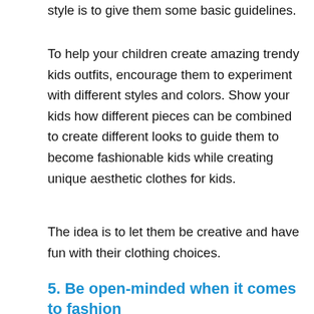style is to give them some basic guidelines.
To help your children create amazing trendy kids outfits, encourage them to experiment with different styles and colors. Show your kids how different pieces can be combined to create different looks to guide them to become fashionable kids while creating unique aesthetic clothes for kids.
The idea is to let them be creative and have fun with their clothing choices.
5. Be open-minded when it comes to fashion